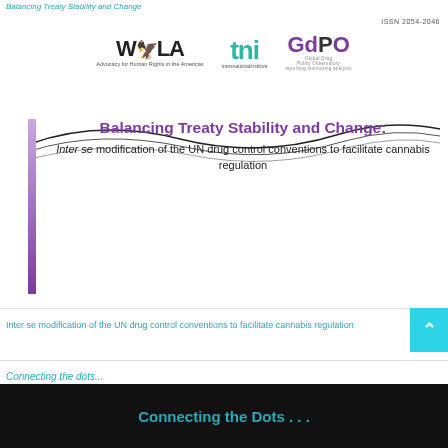Balancing Treaty Stability and Change
[Figure (logo): WOLA, TNI, and GdPO organization logos with ISSN 2054-2046]
[Figure (illustration): Decorative wave lines with purple gradient vertical bar]
Balancing Treaty Stability and Change: Inter se modification of the UN drug control conventions to facilitate cannabis regulation
Inter se modification of the UN drug control conventions to facilitate cannabis regulation
Connecting the dots...
Connecting the Dots . . .